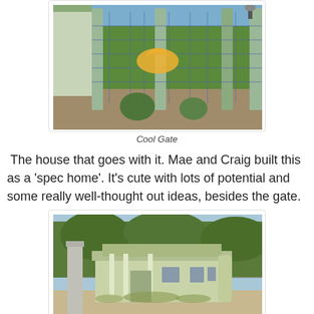[Figure (photo): Photo of a gate with metal fence panels and green pillars, tropical vegetation in background, yellow-orange circular logo/watermark overlay in center]
Cool Gate
The house that goes with it. Mae and Craig built this as a 'spec home'. It's cute with lots of potential and some really well-thought out ideas, besides the gate.
[Figure (photo): Photo of a small light green single-story house with a covered porch, surrounded by dry sandy ground and trees in background, concrete post visible on left]
Cool House